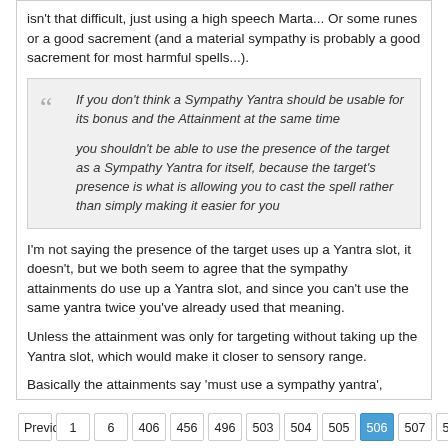isn't that difficult, just using a high speech Marta... Or some runes or a good sacrement (and a material sympathy is probably a good sacrement for most harmful spells...).
If you don't think a Sympathy Yantra should be usable for its bonus and the Attainment at the same time

you shouldn't be able to use the presence of the target as a Sympathy Yantra for itself, because the target's presence is what is allowing you to cast the spell rather than simply making it easier for you
I'm not saying the presence of the target uses up a Yantra slot, it doesn't, but we both seem to agree that the sympathy attainments do use up a Yantra slot, and since you can't use the same yantra twice you've already used that meaning.
Unless the attainment was only for targeting without taking up the Yantra slot, which would make it closer to sensory range.
Basically the attainments say 'must use a sympathy yantra', sensory range only requires the reach for advanced range.
Last edited by orathaic; 01-06-2022, 08:10 AM.
Previous  1  6  406  456  496  503  504  505  506  507  508